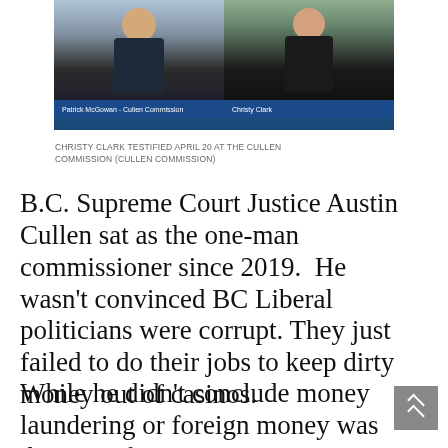[Figure (screenshot): Video call screenshot showing two participants: Patrick McGowan - Cullen Commission (left, man in suit with blue tie) and Christy Clark (right, woman) on a blue-backgrounded video conference interface]
CHRISTY CLARK TESTIFIED APRIL 20 AT THE CULLEN COMMISSION (CULLEN COMMISSION)
B.C. Supreme Court Justice Austin Cullen sat as the one-man commissioner since 2019.  He wasn't convinced BC Liberal politicians were corrupt. They just failed to do their jobs to keep dirty money out of casinos.
While he didn't conclude money laundering or foreign money was the root of B.C.'s